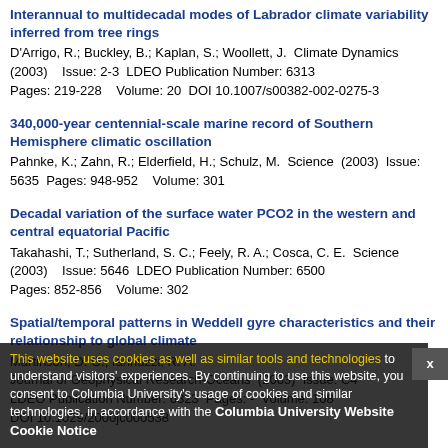Interannual to multidecadal modes of Labrador climate variability inferred from tree rings
D'Arrigo, R.; Buckley, B.; Kaplan, S.; Woollett, J.  Climate Dynamics (2003)    Issue: 2-3  LDEO Publication Number: 6313
Pages: 219-228    Volume: 20  DOI 10.1007/s00382-002-0275-3
340,000-year centennial-scale marine record of Southern Hemisphere climatic oscillation
Pahnke, K.; Zahn, R.; Elderfield, H.; Schulz, M.  Science  (2003)  Issue: 5635  Pages: 948-952    Volume: 301
Decadal variation of the surface water PCO2 in the western and central equatorial Pacific
Takahashi, T.; Sutherland, S. C.; Feely, R. A.; Cosca, C. E.  Science (2003)    Issue: 5646  LDEO Publication Number: 6500
Pages: 852-856    Volume: 302
Spatial/temporal patterns in Weddell gyre characteristics and their relationship to global climate
Martinson, D. G.; Iannuzzi, R. A.
Journal of Geophysical Research-Oceans  (2003)  Issue: C4
LDEO Publication Number: 6323  Pages: -  Volume: 108
DOI 10.1029/2000jc000538
Cookie notice overlay: This website uses cookies as well as similar tools and technologies to understand visitors' experiences. By continuing to use this website, you consent to Columbia University's usage of cookies and similar technologies, in accordance with the Columbia University Website Cookie Notice